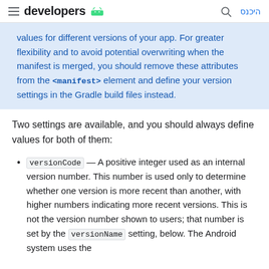developers
values for different versions of your app. For greater flexibility and to avoid potential overwriting when the manifest is merged, you should remove these attributes from the <manifest> element and define your version settings in the Gradle build files instead.
Two settings are available, and you should always define values for both of them:
versionCode — A positive integer used as an internal version number. This number is used only to determine whether one version is more recent than another, with higher numbers indicating more recent versions. This is not the version number shown to users; that number is set by the versionName setting, below. The Android system uses the